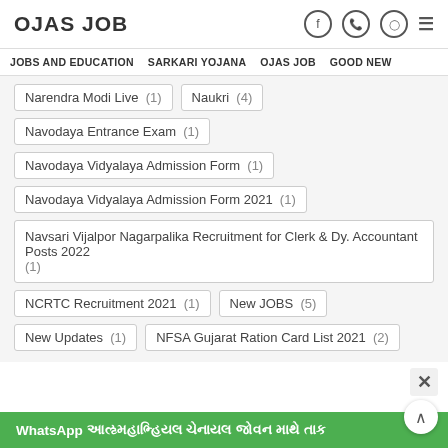OJAS JOB
JOBS AND EDUCATION  SARKARI YOJANA  OJAS JOB  GOOD NEW
Narendra Modi Live  (1)
Naukri  (4)
Navodaya Entrance Exam  (1)
Navodaya Vidyalaya Admission Form  (1)
Navodaya Vidyalaya Admission Form 2021  (1)
Navsari Vijalpor Nagarpalika Recruitment for Clerk & Dy. Accountant Posts 2022  (1)
NCRTC Recruitment 2021  (1)
New JOBS  (5)
New Updates  (1)
NFSA Gujarat Ration Card List 2021  (2)
WhatsApp ઓફિશિયલ ચેનલ જોઈન કરવા માટે